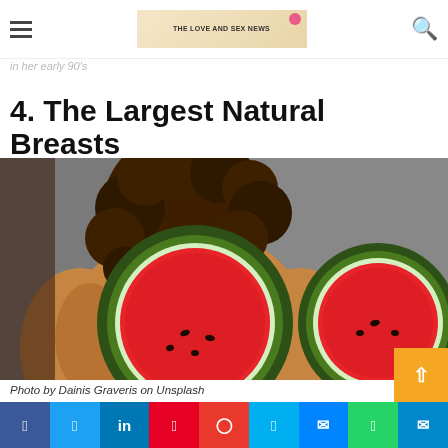Navigation bar with hamburger menu, banner ad (THE LOVE AND SEX NEWS), and search icon
4. The Largest Natural Breasts
[Figure (photo): A person with curly dark hair, seen from behind, holding two halves of a watermelon in front of their body against a gray background.]
Photo by Dainis Graveris on Unsplash
Social share buttons: Facebook, Twitter, LinkedIn, Pinterest, Pocket, Skype, Messenger, WhatsApp, Telegram